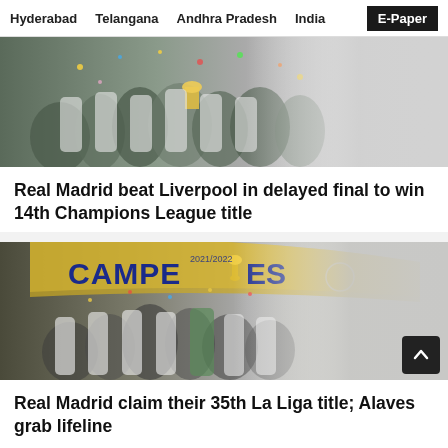Hyderabad   Telangana   Andhra Pradesh   India   E-Paper
[Figure (photo): Real Madrid team celebrating with trophies, players in white kit]
Real Madrid beat Liverpool in delayed final to win 14th Champions League title
[Figure (photo): Real Madrid players celebrating La Liga title with CAMPEONES banner, 2021/2022 season]
Real Madrid claim their 35th La Liga title; Alaves grab lifeline